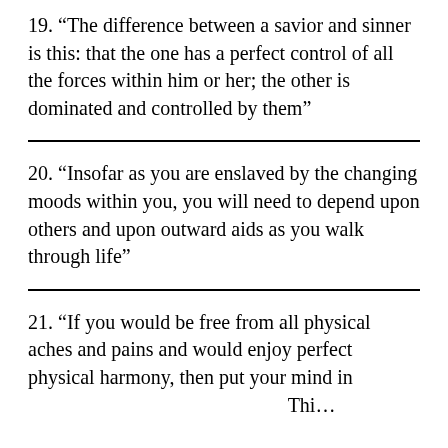19. “The difference between a savior and sinner is this: that the one has a perfect control of all the forces within him or her; the other is dominated and controlled by them”
20. “Insofar as you are enslaved by the changing moods within you, you will need to depend upon others and upon outward aids as you walk through life”
21. “If you would be free from all physical aches and pains and would enjoy perfect physical harmony, then put your mind in…